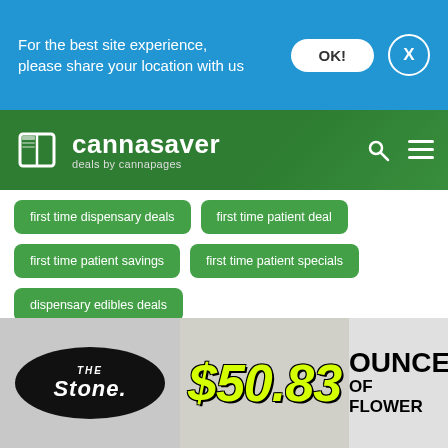For the best site experience, please share your location with us
[Figure (logo): Cannasaver logo - deals by cannapages - green header with cannabis leaf background]
first time dispensary deals
first time patient deal
first time patient savings
first time patient specials
dispensary edibles deals
best dispensary for first time patients
best recreational dispensary near me
cannabis edibles prices
[Figure (advertisement): The Stone dispensary ad: $50.83 OUNCE OF FLOWER]